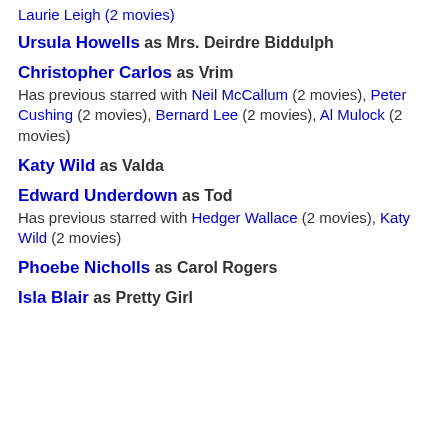Laurie Leigh (2 movies)
Ursula Howells as Mrs. Deirdre Biddulph
Christopher Carlos as Vrim
Has previous starred with Neil McCallum (2 movies), Peter Cushing (2 movies), Bernard Lee (2 movies), Al Mulock (2 movies)
Katy Wild as Valda
Edward Underdown as Tod
Has previous starred with Hedger Wallace (2 movies), Katy Wild (2 movies)
Phoebe Nicholls as Carol Rogers
Isla Blair as Pretty Girl